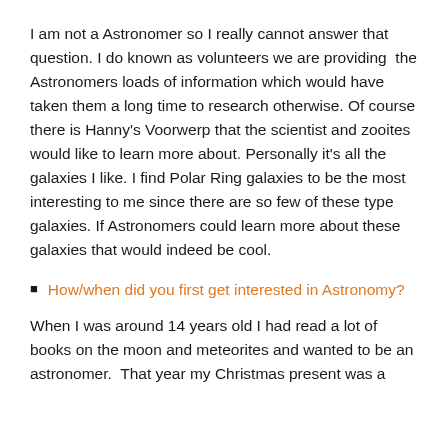I am not a Astronomer so I really cannot answer that question. I do known as volunteers we are providing  the Astronomers loads of information which would have taken them a long time to research otherwise. Of course there is Hanny's Voorwerp that the scientist and zooites would like to learn more about. Personally it's all the galaxies I like. I find Polar Ring galaxies to be the most interesting to me since there are so few of these type galaxies. If Astronomers could learn more about these galaxies that would indeed be cool.
How/when did you first get interested in Astronomy?
When I was around 14 years old I had read a lot of books on the moon and meteorites and wanted to be an astronomer.  That year my Christmas present was a